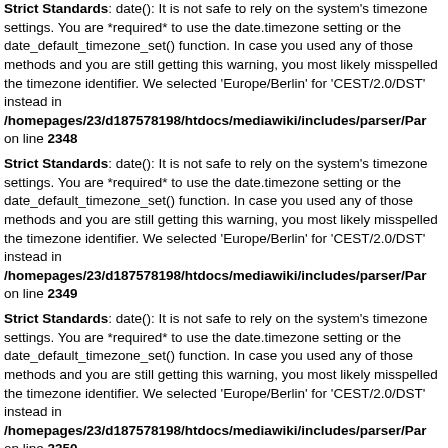Strict Standards: date(): It is not safe to rely on the system's timezone settings. You are *required* to use the date.timezone setting or the date_default_timezone_set() function. In case you used any of those methods and you are still getting this warning, you most likely misspelled the timezone identifier. We selected 'Europe/Berlin' for 'CEST/2.0/DST' instead in /homepages/23/d187578198/htdocs/mediawiki/includes/parser/Par on line 2348
Strict Standards: date(): It is not safe to rely on the system's timezone settings. You are *required* to use the date.timezone setting or the date_default_timezone_set() function. In case you used any of those methods and you are still getting this warning, you most likely misspelled the timezone identifier. We selected 'Europe/Berlin' for 'CEST/2.0/DST' instead in /homepages/23/d187578198/htdocs/mediawiki/includes/parser/Par on line 2349
Strict Standards: date(): It is not safe to rely on the system's timezone settings. You are *required* to use the date.timezone setting or the date_default_timezone_set() function. In case you used any of those methods and you are still getting this warning, you most likely misspelled the timezone identifier. We selected 'Europe/Berlin' for 'CEST/2.0/DST' instead in /homepages/23/d187578198/htdocs/mediawiki/includes/parser/Par on line 2350